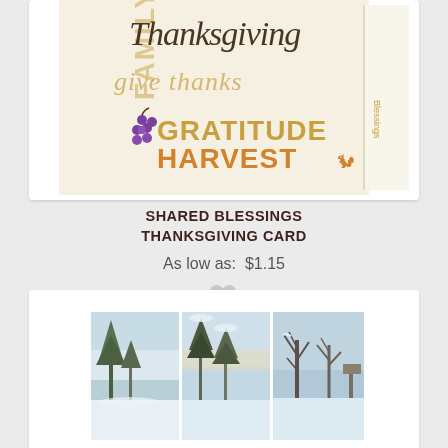[Figure (photo): Thanksgiving greeting card with text words FAMILY, Thanksgiving, give thanks, GRATITUDE, HARVEST with decorative grape and squirrel illustrations on a cream/beige background, shown as a folded card]
SHARED BLESSINGS THANKSGIVING CARD
As low as:  $1.15
[Figure (illustration): Heart/favorite icon in light gray]
[Figure (photo): Three-panel winter scene card showing snow-covered trees and landscape in pale blue and white tones]